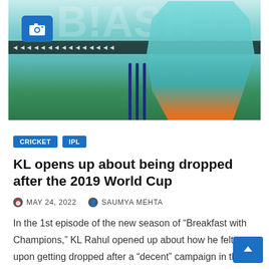[Figure (photo): Cricket player in teal/aqua batting gear at the crease with stumps visible, advertisement banners in background]
CRICKET   IPL
KL opens up about being dropped after the 2019 World Cup
MAY 24, 2022   SAUMYA MEHTA
In the 1st episode of the new season of “Breakfast with Champions,” KL Rahul opened up about how he felt upon getting dropped after a “decent” campaign in the 2019…